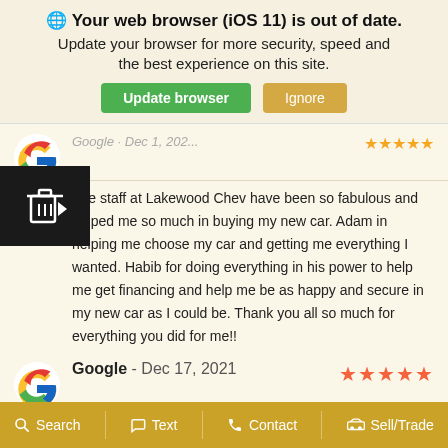🌐 Your web browser (iOS 11) is out of date. Update your browser for more security, speed and the best experience on this site.
Update browser | Ignore
The staff at Lakewood Chev have been so fabulous and helped me so much in buying my new car. Adam in helping me choose my car and getting me everything I wanted. Habib for doing everything in his power to help me get financing and help me be as happy and secure in my new car as I could be. Thank you all so much for everything you did for me!!
Google - Dec 17, 2021 ★★★★★
Habib was great to work with. He went out of his way to
Search  Text  Contact  Sell/Trade